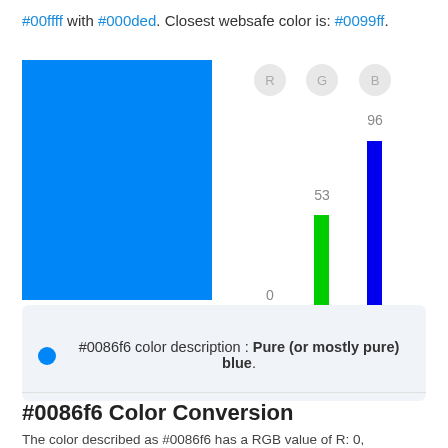#00ffff with #000ded. Closest websafe color is: #0099ff.
[Figure (bar-chart): RGB color chart]
#0086f6 color description : Pure (or mostly pure) blue.
#0086f6 Color Conversion
The color described as #0086f6 has a RGB value of R: 0,